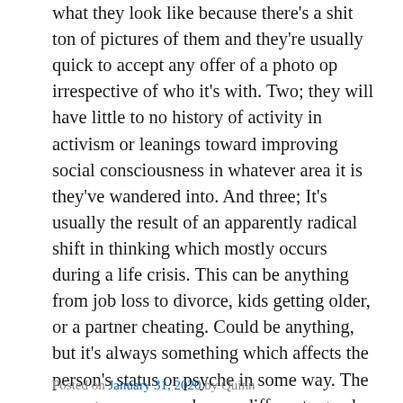what they look like because there's a shit ton of pictures of them and they're usually quick to accept any offer of a photo op irrespective of who it's with. Two; they will have little to no history of activity in activism or leanings toward improving social consciousness in whatever area it is they've wandered into. And three; It's usually the result of an apparently radical shift in thinking which mostly occurs during a life crisis. This can be anything from job loss to divorce, kids getting older, or a partner cheating. Could be anything, but it's always something which affects the person's status or psyche in some way. The younger ones may have a different agenda but they're not necessarily innocent or naive with their intentions.
Continue reading
Posted on January 31, 2020 by Quinn